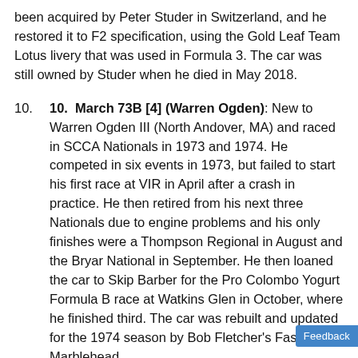been acquired by Peter Studer in Switzerland, and he restored it to F2 specification, using the Gold Leaf Team Lotus livery that was used in Formula 3. The car was still owned by Studer when he died in May 2018.
March 73B [4] (Warren Ogden): New to Warren Ogden III (North Andover, MA) and raced in SCCA Nationals in 1973 and 1974. He competed in six events in 1973, but failed to start his first race at VIR in April after a crash in practice. He then retired from his next three Nationals due to engine problems and his only finishes were a Thompson Regional in August and the Bryar National in September. He then loaned the car to Skip Barber for the Pro Colombo Yogurt Formula B race at Watkins Glen in October, where he finished third. The car was rebuilt and updated for the 1974 season by Bob Fletcher's Fast Co. in Marblehead